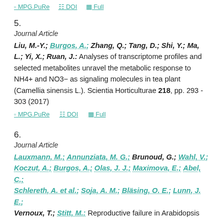MPG.PuRe   DOI   Full
5.
Journal Article
Liu, M.-Y.; Burgos, A.; Zhang, Q.; Tang, D.; Shi, Y.; Ma, L.; Yi, X.; Ruan, J.: Analyses of transcriptome profiles and selected metabolites unravel the metabolic response to NH4+ and NO3− as signaling molecules in tea plant (Camellia sinensis L.). Scientia Horticulturae 218, pp. 293 - 303 (2017)
MPG.PuRe   DOI   Full
6.
Journal Article
Lauxmann, M.; Annunziata, M. G.; Brunoud, G.; Wahl, V.; Koczut, A.; Burgos, A.; Olas, J. J.; Maximova, E.; Abel, C.; Schlereth, A. et al.; Soja, A. M.; Bläsing, O. E.; Lunn, J. E.; Vernoux, T.; Stitt, M.: Reproductive failure in Arabidopsis